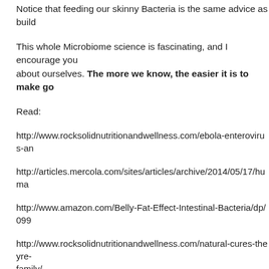Notice that feeding our skinny Bacteria is the same advice as build…
This whole Microbiome science is fascinating, and I encourage you… about ourselves. The more we know, the easier it is to make go…
Read:
http://www.rocksolidnutritionandwellness.com/ebola-enterovirus-an…
http://articles.mercola.com/sites/articles/archive/2014/05/17/human…
http://www.amazon.com/Belly-Fat-Effect-Intestinal-Bacteria/dp/099…
http://www.rocksolidnutritionandwellness.com/natural-cures-theyre-family/
Listen to:
http://undergroundwellness.com/podcasts/306-5-steps-to-permane…
http://livinlavidalowcarb.com/blog/the-llvlc-show-episode-876-brend… heart-of-obesity/23639